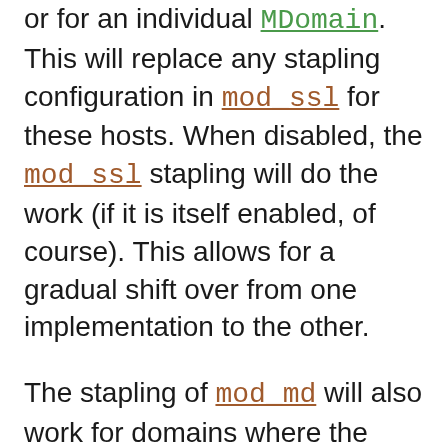or for an individual MDomain. This will replace any stapling configuration in mod_ssl for these hosts. When disabled, the mod_ssl stapling will do the work (if it is itself enabled, of course). This allows for a gradual shift over from one implementation to the other.
The stapling of mod_md will also work for domains where the certificates are not managed by this module (see MDStapleOthers for how to control this). This allows use of the new stapling without using any ACME certificate management.